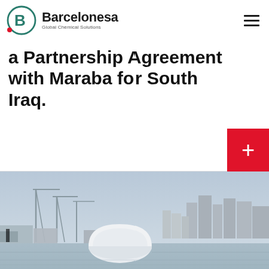Barcelonesa Global Chemical Solutions
a Partnership Agreement with Maraba for South Iraq.
[Figure (photo): City skyline with industrial port cranes, buildings, and a large white dome structure in the foreground, hazy sky background.]